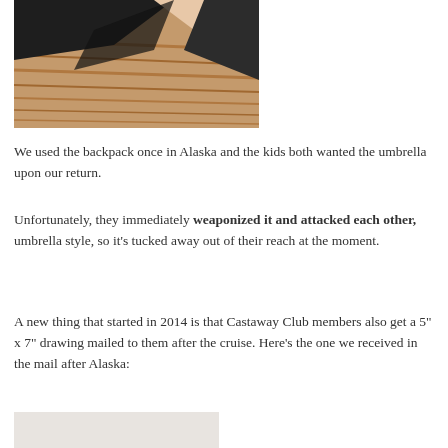[Figure (photo): Photo of a backpack or umbrella item against wood flooring, showing dark fabric and wooden floor texture]
We used the backpack once in Alaska and the kids both wanted the umbrella upon our return.
Unfortunately, they immediately weaponized it and attacked each other, umbrella style, so it's tucked away out of their reach at the moment.
A new thing that started in 2014 is that Castaway Club members also get a 5" x 7" drawing mailed to them after the cruise. Here's the one we received in the mail after Alaska:
[Figure (photo): Bottom portion of a light gray/beige drawing or card received in the mail]